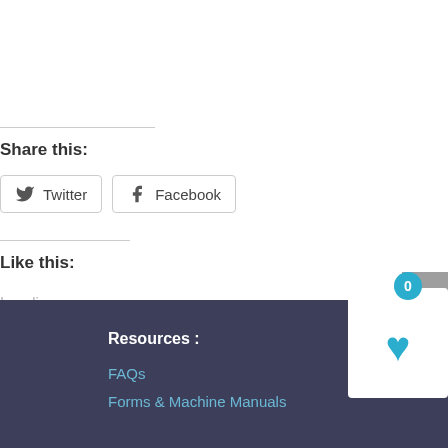Share this:
Twitter
Facebook
Like this:
Loading...
Resources :
FAQs
Forms & Machine Manuals